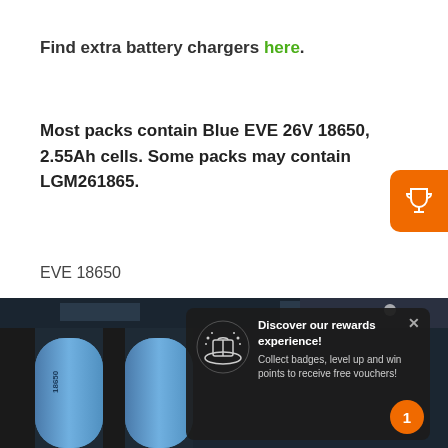Find extra battery chargers here.
Most packs contain Blue EVE 26V 18650, 2.55Ah cells. Some packs may contain LGM261865.
EVE 18650
[Figure (photo): Close-up photo of blue cylindrical 18650 battery cells in a pack with dark plastic holders]
[Figure (infographic): Dark popup overlay: Discover our rewards experience! Collect badges, level up and win points to receive free vouchers! With a gift icon and close button.]